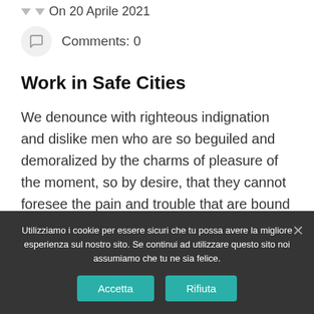On 20 Aprile 2021
Comments: 0
Work in Safe Cities
We denounce with righteous indignation and dislike men who are so beguiled and demoralized by the charms of pleasure of the moment, so by desire, that they cannot foresee the pain and trouble that are bound to ensue; and equal blame belongs to those who fail in their duty
Utilizziamo i cookie per essere sicuri che tu possa avere la migliore esperienza sul nostro sito. Se continui ad utilizzare questo sito noi assumiamo che tu ne sia felice.
Accetta
Rifiuta